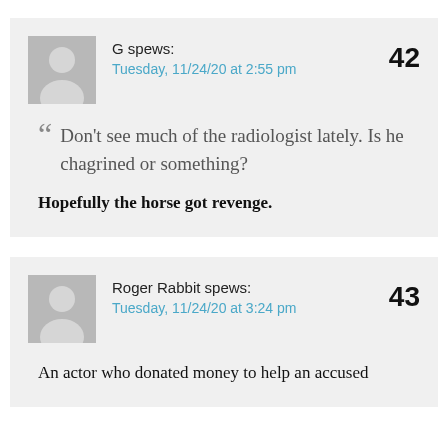G spews:
Tuesday, 11/24/20 at 2:55 pm
42
“Don’t see much of the radiologist lately. Is he chagrined or something?
Hopefully the horse got revenge.
Roger Rabbit spews:
Tuesday, 11/24/20 at 3:24 pm
43
An actor who donated money to help an accused